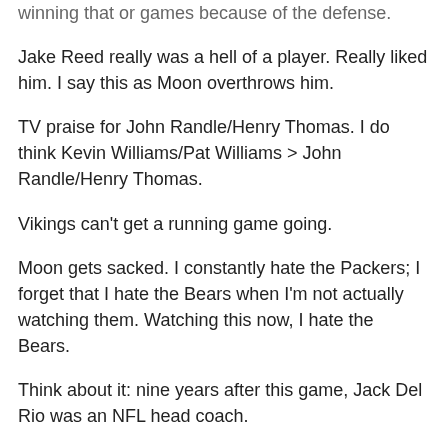winning that or games because of the defense.
Jake Reed really was a hell of a player. Really liked him. I say this as Moon overthrows him.
TV praise for John Randle/Henry Thomas. I do think Kevin Williams/Pat Williams > John Randle/Henry Thomas.
Vikings can't get a running game going.
Moon gets sacked. I constantly hate the Packers; I forget that I hate the Bears when I'm not actually watching them. Watching this now, I hate the Bears.
Think about it: nine years after this game, Jack Del Rio was an NFL head coach.
Joe Theismann has always been Joe Theismann.
Scottie Graham: Dennis Green sure brought in some interesting guys.
End of the first quarter: 7-7. Check back for Second Quarter